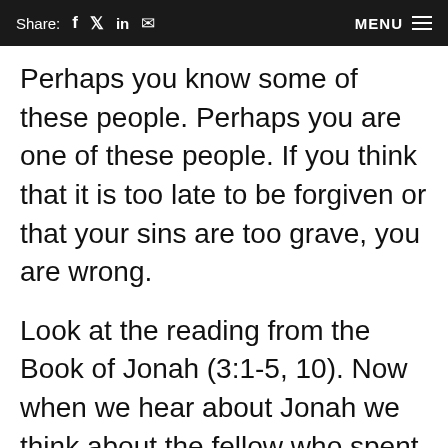Share: f  in  [mail]  MENU
Perhaps you know some of these people. Perhaps you are one of these people. If you think that it is too late to be forgiven or that your sins are too grave, you are wrong.
Look at the reading from the Book of Jonah (3:1-5, 10). Now when we hear about Jonah we think about the fellow who spent three days in the belly of a whale, foreshadowing Christ's three days in the tomb. That is only part of the story. The whole